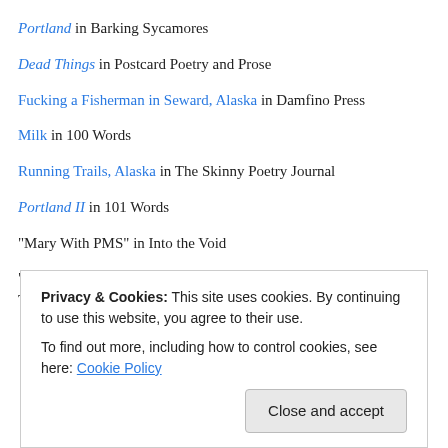Portland in Barking Sycamores
Dead Things in Postcard Poetry and Prose
Fucking a Fisherman in Seward, Alaska in Damfino Press
Milk in 100 Words
Running Trails, Alaska in The Skinny Poetry Journal
Portland II in 101 Words
“Mary With PMS” in Into the Void
“Mary Poppins: The Third Show” and “I’m not you’re baby” in Theories
Privacy & Cookies: This site uses cookies. By continuing to use this website, you agree to their use. To find out more, including how to control cookies, see here: Cookie Policy